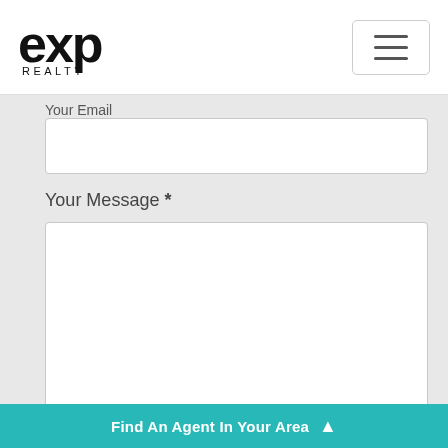eXp Realty logo and navigation header
Your Email
Your Message *
[Figure (screenshot): reCAPTCHA widget with checkbox and reCAPTCHA logo]
Find An Agent In Your Area